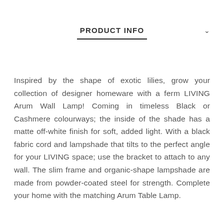PRODUCT INFO
Inspired by the shape of exotic lilies, grow your collection of designer homeware with a ferm LIVING Arum Wall Lamp! Coming in timeless Black or Cashmere colourways; the inside of the shade has a matte off-white finish for soft, added light. With a black fabric cord and lampshade that tilts to the perfect angle for your LIVING space; use the bracket to attach to any wall. The slim frame and organic-shape lampshade are made from powder-coated steel for strength. Complete your home with the matching Arum Table Lamp.